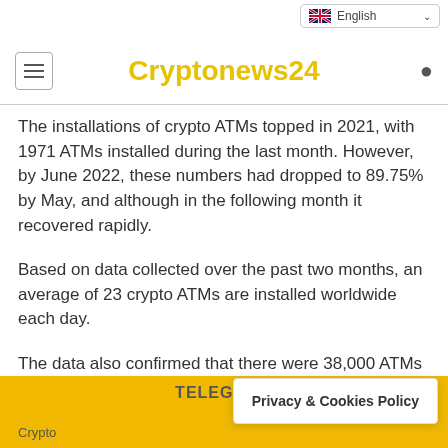Cryptonews24
The installations of crypto ATMs topped in 2021, with 1971 ATMs installed during the last month. However, by June 2022, these numbers had dropped to 89.75% by May, and although in the following month it recovered rapidly.
Based on data collected over the past two months, an average of 23 crypto ATMs are installed worldwide each day.
The data also confirmed that there were 38,000 ATMs currently operating worldwide. Crypto ATMs offer significant benefits to bitcoin and the crypto
TELEGRAM
Crypto   Privacy & Cookies Policy